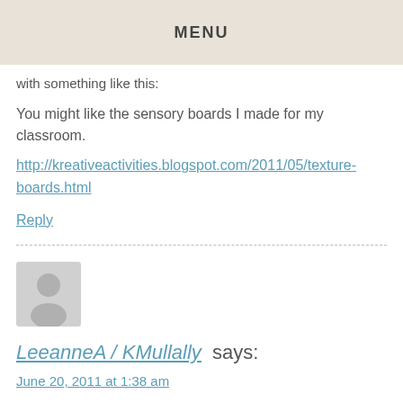MENU
with something like this:
You might like the sensory boards I made for my classroom.
http://kreativeactivities.blogspot.com/2011/05/texture-boards.html
Reply
[Figure (illustration): Default user avatar, gray silhouette of a person on light gray background]
LeeanneA / KMullally says:
June 20, 2011 at 1:38 am